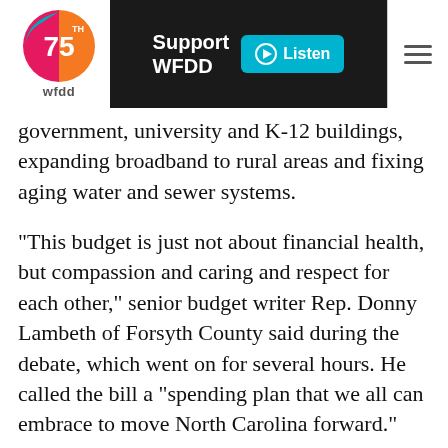WFDD 75th Anniversary — Support WFDD | Listen
government, university and K-12 buildings, expanding broadband to rural areas and fixing aging water and sewer systems.
"This budget is just not about financial health, but compassion and caring and respect for each other," senior budget writer Rep. Donny Lambeth of Forsyth County said during the debate, which went on for several hours. He called the bill a "spending plan that we all can embrace to move North Carolina forward."
Like the Senate's competing budget approved in June, the House budget bill benefits from a large revenue surplus and billions of federal COVID-19 aid dollars sent by Congress. But the